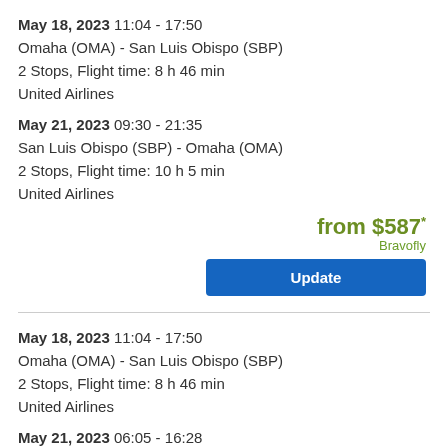May 18, 2023 11:04 - 17:50
Omaha (OMA) - San Luis Obispo (SBP)
2 Stops, Flight time: 8 h 46 min
United Airlines
May 21, 2023 09:30 - 21:35
San Luis Obispo (SBP) - Omaha (OMA)
2 Stops, Flight time: 10 h 5 min
United Airlines
from $587* Bravofly
Update
May 18, 2023 11:04 - 17:50
Omaha (OMA) - San Luis Obispo (SBP)
2 Stops, Flight time: 8 h 46 min
United Airlines
May 21, 2023 06:05 - 16:28
San Luis Obispo (SBP) - Omaha (OMA)
2 Stops, Flight time: 8 h 23 min
United Airlines